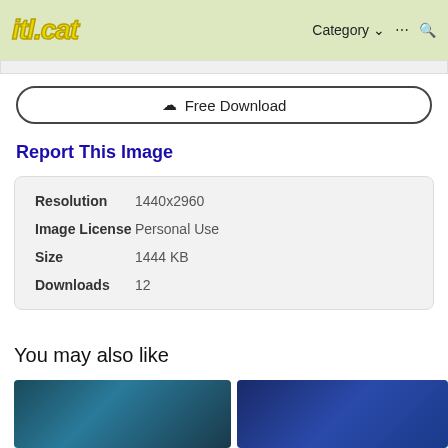itl.cat — Category ··· 🔍
⬇ Free Download
Report This Image
| Property | Value |
| --- | --- |
| Resolution | 1440x2960 |
| Image License | Personal Use |
| Size | 1444 KB |
| Downloads | 12 |
You may also like
[Figure (photo): Dark teal/blue blurred background photo thumbnail]
[Figure (photo): Dark blue blurred background photo thumbnail]